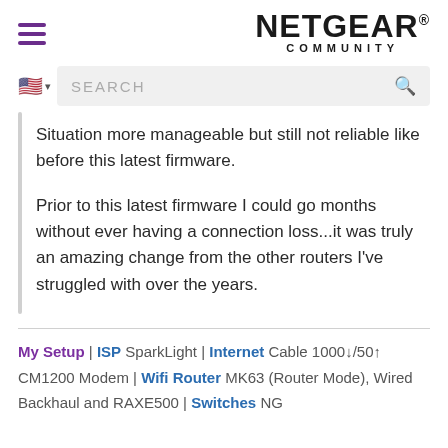[Figure (logo): NETGEAR COMMUNITY logo with hamburger menu icon on left]
[Figure (screenshot): Search bar with US flag language selector and magnifying glass icon]
Situation more manageable but still not reliable like before this latest firmware.
Prior to this latest firmware I could go months without ever having a connection loss...it was truly an amazing change from the other routers I've struggled with over the years.
My Setup | ISP SparkLight | Internet Cable 1000↓/50↑ CM1200 Modem | Wifi Router MK63 (Router Mode), Wired Backhaul and RAXE500 | Switches NG